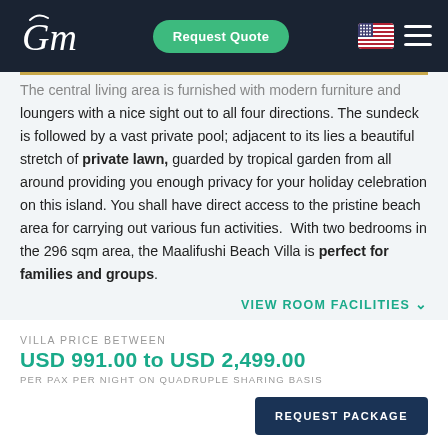GM | Request Quote
The central living area is furnished with modern furniture and loungers with a nice sight out to all four directions. The sundeck is followed by a vast private pool; adjacent to its lies a beautiful stretch of private lawn, guarded by tropical garden from all around providing you enough privacy for your holiday celebration on this island. You shall have direct access to the pristine beach area for carrying out various fun activities. With two bedrooms in the 296 sqm area, the Maalifushi Beach Villa is perfect for families and groups.
VIEW ROOM FACILITIES
VILLA PRICE BETWEEN
USD 991.00 to USD 2,499.00
PER PAX PER NIGHT ON QUADRUPLE SHARING BASIS
REQUEST PACKAGE